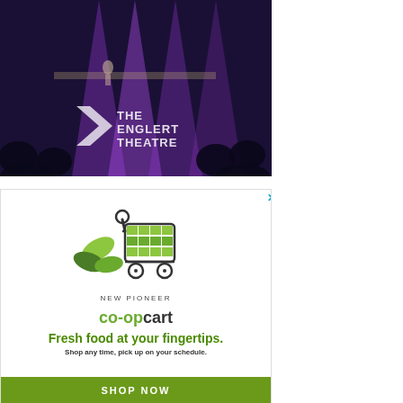[Figure (photo): Concert/performance photo of The Englert Theatre interior with purple lighting, audience silhouettes, performer on stage, and The Englert Theatre logo overlay]
[Figure (illustration): New Pioneer co-op cart advertisement with shopping cart logo with green leaves, text reading NEW PIONEER co-opcart, Fresh food at your fingertips., Shop any time, pick up on your schedule., and a SHOP NOW button]